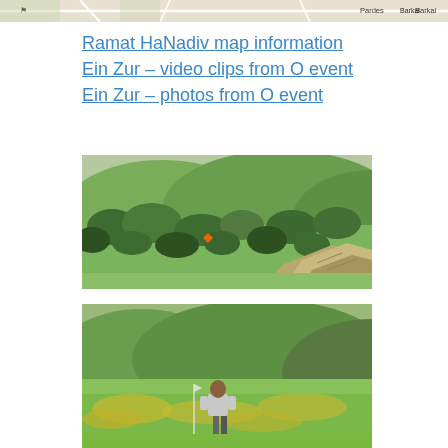[Figure (map): Partial map strip showing roads and labels including 'Pardes' and 'Barkai']
Ramat HaNadiv map information
Ein Zur – video clips from O event
Ein Zur – photos from O event
[Figure (photo): Outdoor landscape photo showing green rolling hills covered with shrubs and bushes, with rocky outcropping in the foreground right and an orange orienteering marker visible mid-distance. Taken at Ein Zur nature reserve.]
[Figure (photo): Outdoor landscape photo showing a young person standing in a green field with yellow wildflowers, with green hills in the background. Orienteering event at Ein Zur.]